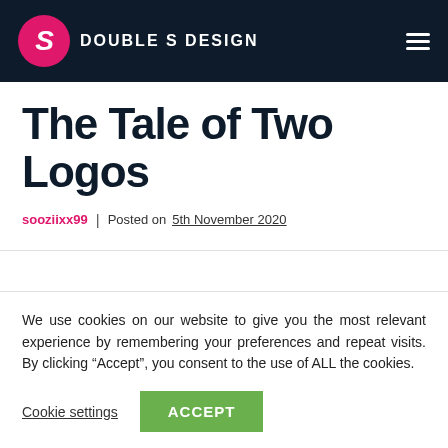DOUBLE S DESIGN
The Tale of Two Logos
sooziixx99 | Posted on 5th November 2020
We use cookies on our website to give you the most relevant experience by remembering your preferences and repeat visits. By clicking “Accept”, you consent to the use of ALL the cookies.
Cookie settings ACCEPT